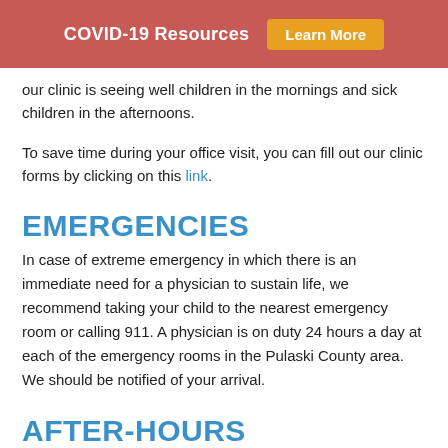COVID-19 Resources  Learn More
our clinic is seeing well children in the mornings and sick children in the afternoons.
To save time during your office visit, you can fill out our clinic forms by clicking on this link.
EMERGENCIES
In case of extreme emergency in which there is an immediate need for a physician to sustain life, we recommend taking your child to the nearest emergency room or calling 911. A physician is on duty 24 hours a day at each of the emergency rooms in the Pulaski County area. We should be notified of your arrival.
AFTER-HOURS CONSULTATION